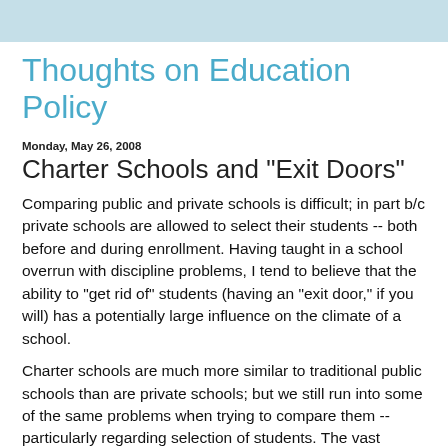Thoughts on Education Policy
Monday, May 26, 2008
Charter Schools and "Exit Doors"
Comparing public and private schools is difficult; in part b/c private schools are allowed to select their students -- both before and during enrollment. Having taught in a school overrun with discipline problems, I tend to believe that the ability to "get rid of" students (having an "exit door," if you will) has a potentially large influence on the climate of a school.
Charter schools are much more similar to traditional public schools than are private schools; but we still run into some of the same problems when trying to compare them -- particularly regarding selection of students. The vast majority